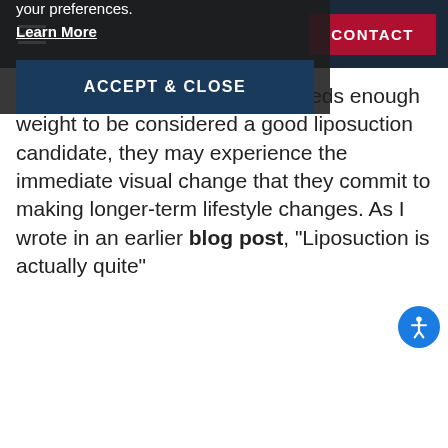CONTACT
For example, once someone sheds enough weight to be considered a good liposuction candidate, they may experience the immediate visual change that they commit to making longer-term lifestyle changes. As I wrote in an earlier blog post, "Liposuction is actually quite"
This site uses cookies to optimize your experience, analyze traffic, and remember your preferences.
Learn More
ACCEPT & CLOSE
Can you get liposuction on your belly?
You need to determine your own indications